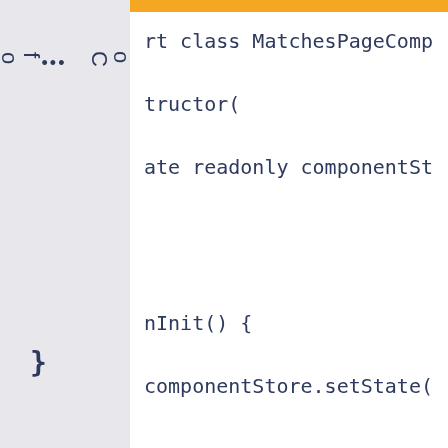[Figure (screenshot): IDE screenshot showing a sidebar with 'Table of Contents' text rotated vertically with ellipsis dots, and a code editor panel showing partial TypeScript/Angular code including class MatchesPageComponent implement, constructor(, private readonly componentStore: ComponentSto, ngOnInit() {, this.componentStore.setState({matches: []}); and closing brace.]
rt class MatchesPageComponent implement
tructor(
ate readonly componentStore: ComponentSto
nInit() {
componentStore.setState({matches: []});
}